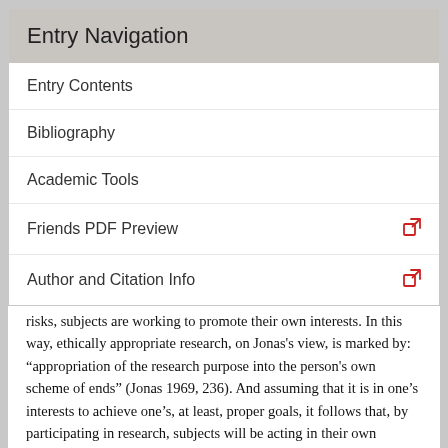Entry Navigation
Entry Contents
Bibliography
Academic Tools
Friends PDF Preview
Author and Citation Info
risks, subjects are working to promote their own interests. In this way, ethically appropriate research, on Jonas's view, is marked by: “appropriation of the research purpose into the person's own scheme of ends” (Jonas 1969, 236). And assuming that it is in one’s interests to achieve one’s, at least, proper goals, it follows that, by participating in research, subjects will be acting in their own interests, despite the fact that they are thereby being exposed to risky procedures which are performed to collect information to benefit others. One might want to add here the further condition that there must be some